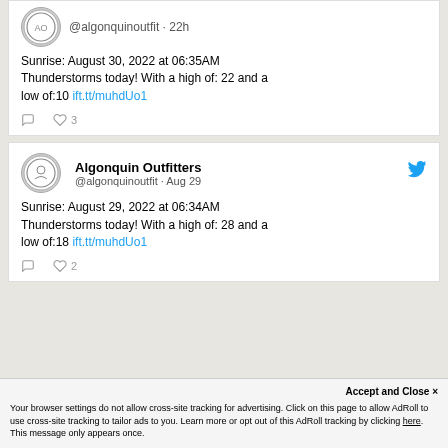@algonquinoutfit · 22h
Sunrise: August 30, 2022 at 06:35AM Thunderstorms today! With a high of: 22 and a low of:10 ift.tt/muhdUo1
Algonquin Outfitters @algonquinoutfit · Aug 29
Sunrise: August 29, 2022 at 06:34AM Thunderstorms today! With a high of: 28 and a low of:18 ift.tt/muhdUo1
Accept and Close ×
Your browser settings do not allow cross-site tracking for advertising. Click on this page to allow AdRoll to use cross-site tracking to tailor ads to you. Learn more or opt out of this AdRoll tracking by clicking here. This message only appears once.